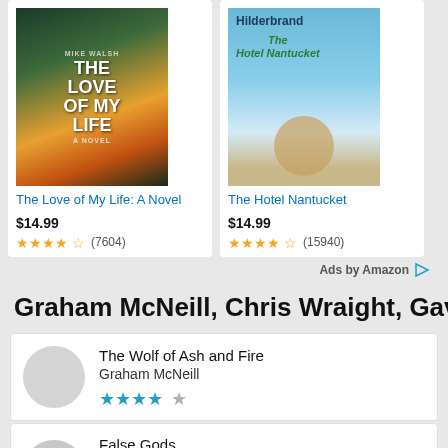[Figure (screenshot): Two book product cards side by side. Left: 'The Love of My Life: A Novel' book cover with dark green/orange design. Right: 'The Hotel Nantucket' cover with beach/blue sky scene.]
The Love of My Life: A Novel
$14.99
★★★★½ (7604)
The Hotel Nantucket
$14.99
★★★★½ (15940)
Ads by Amazon
Graham McNeill, Chris Wraight, Gav
The Wolf of Ash and Fire
Graham McNeill
False Gods
Graham McNeill